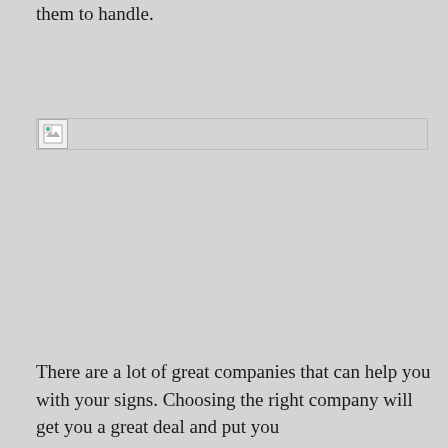them to handle.
[Figure (photo): A broken/missing image placeholder icon with a small thumbnail image icon showing a green leaf, positioned at the top of an image region that failed to load.]
There are a lot of great companies that can help you with your signs. Choosing the right company will get you a great deal and put you